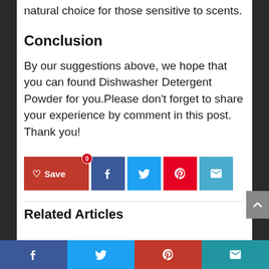natural choice for those sensitive to scents.
Conclusion
By our suggestions above, we hope that you can found Dishwasher Detergent Powder for you.Please don't forget to share your experience by comment in this post. Thank you!
[Figure (infographic): Social share buttons: Save (heart icon with 0 badge), Facebook, Twitter, Pinterest, Email]
Related Articles
Bottom social share bar: Facebook, Twitter, Pinterest, Email